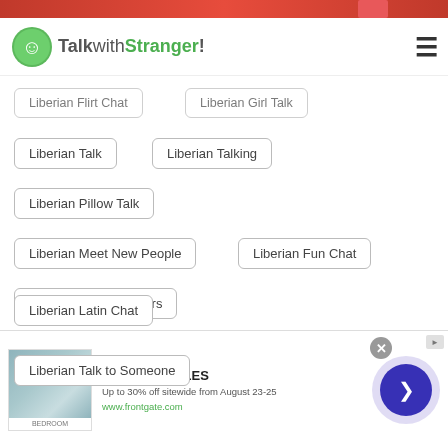[Figure (screenshot): Top red banner image strip]
TalkwithStranger!
Liberian Flirt Chat
Liberian Girl Talk
Liberian Talk
Liberian Talking
Liberian Pillow Talk
Liberian Meet New People
Liberian Fun Chat
Liberian Text Strangers
Liberian Free Talk and Text
Liberian Latin Chat
Liberian Talk to Someone
[Figure (infographic): Advertisement banner: Frontgate SALES - Up to 30% off sitewide from August 23-25, www.frontgate.com, with bedroom image and navigation arrow button]